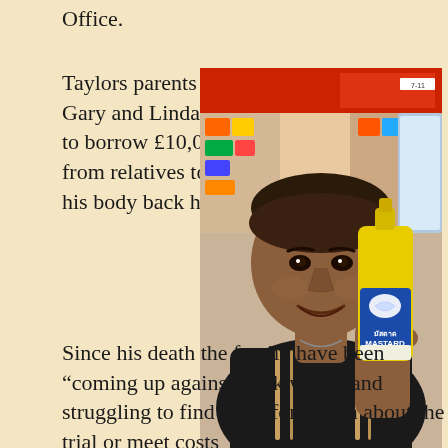Office.
Taylors parents Gary and Linda, had to borrow £10,000 from relatives to fly his body back home.
[Figure (photo): A man smiling and holding a yellow mustard bottle with a blue label reading 'มัสตาด MASTARD', taken inside a convenience store.]
Since his death the family have been “coming up against brick walls” and struggling to find out information about the trial or meet costs